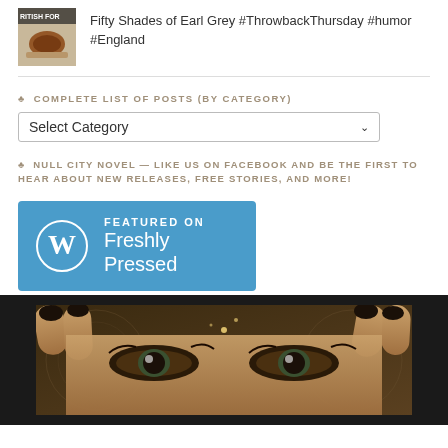[Figure (photo): Thumbnail image showing a cup of tea with text BRITISH FOR overlaid]
Fifty Shades of Earl Grey #ThrowbackThursday #humor #England
♣ COMPLETE LIST OF POSTS (BY CATEGORY)
Select Category
♣ NULL CITY NOVEL — LIKE US ON FACEBOOK AND BE THE FIRST TO HEAR ABOUT NEW RELEASES, FREE STORIES, AND MORE!
[Figure (logo): WordPress Freshly Pressed badge — blue rectangle with WordPress W logo and text FEATURED ON Freshly Pressed]
[Figure (photo): Close-up of a woman's eyes with dark nail-polished fingers framing her face, sepia/gold toned background]